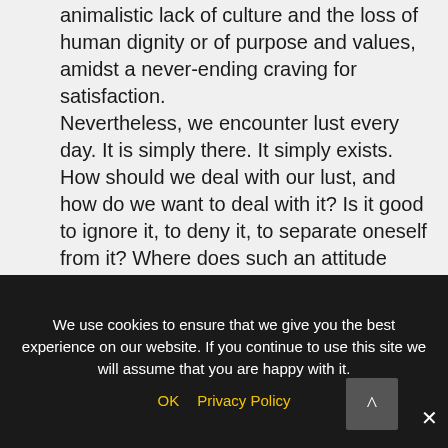animalistic lack of culture and the loss of human dignity or of purpose and values, amidst a never-ending craving for satisfaction. Nevertheless, we encounter lust every day. It is simply there. It simply exists. How should we deal with our lust, and how do we want to deal with it? Is it good to ignore it, to deny it, to separate oneself from it? Where does such an attitude towards life lead us to? In this presentation, the value of lust and of the experience of lust for our emotional wellbeing and emotional health will be shown. Furthermore, the dangers that come alongside lust will be discussed. Keywords: Existential Analysis, lust, value, depression,
We use cookies to ensure that we give you the best experience on our website. If you continue to use this site we will assume that you are happy with it.
OK   Privacy Policy